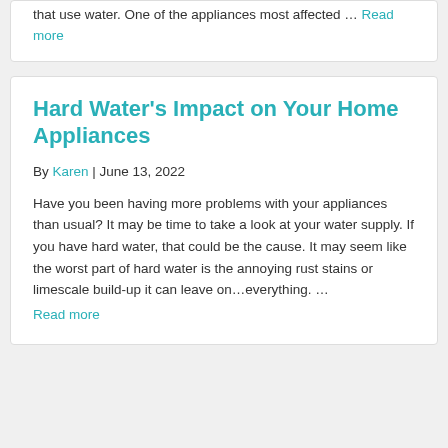that use water. One of the appliances most affected … Read more
Hard Water's Impact on Your Home Appliances
By Karen | June 13, 2022
Have you been having more problems with your appliances than usual? It may be time to take a look at your water supply. If you have hard water, that could be the cause. It may seem like the worst part of hard water is the annoying rust stains or limescale build-up it can leave on…everything. … Read more